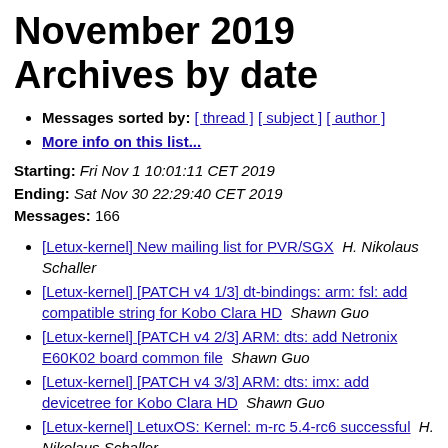November 2019 Archives by date
Messages sorted by: [ thread ] [ subject ] [ author ]
More info on this list...
Starting: Fri Nov 1 10:01:11 CET 2019
Ending: Sat Nov 30 22:29:40 CET 2019
Messages: 166
[Letux-kernel] New mailing list for PVR/SGX  H. Nikolaus Schaller
[Letux-kernel] [PATCH v4 1/3] dt-bindings: arm: fsl: add compatible string for Kobo Clara HD  Shawn Guo
[Letux-kernel] [PATCH v4 2/3] ARM: dts: add Netronix E60K02 board common file  Shawn Guo
[Letux-kernel] [PATCH v4 3/3] ARM: dts: imx: add devicetree for Kobo Clara HD  Shawn Guo
[Letux-kernel] LetuxOS: Kernel: m-rc 5.4-rc6 successful  H. Nikolaus Schaller
[Letux-kernel] [PATCH v2 2/5] mfd: rn5t618: add irq support  Andreas Kemnade
[Letux-kernel] LetuxOS: Kernel: m-stable 4.9.199...